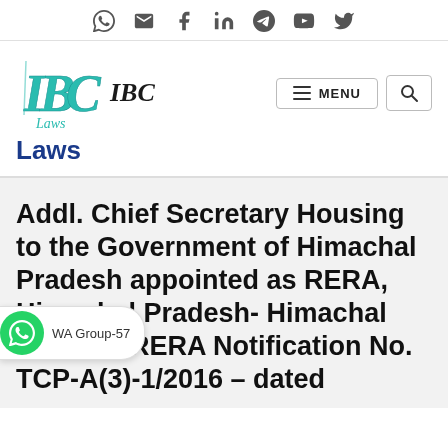[Figure (other): Top social media icon bar with WhatsApp, email, Facebook, LinkedIn, Telegram, YouTube, Twitter icons]
[Figure (logo): IBC Laws logo - stylized teal/green IBC text with 'Laws' script below]
IBC Laws
Addl. Chief Secretary Housing to the Government of Himachal Pradesh appointed as RERA, Himachal Pradesh- Himachal Pradesh RERA Notification No. TCP-A(3)-1/2016 – dated